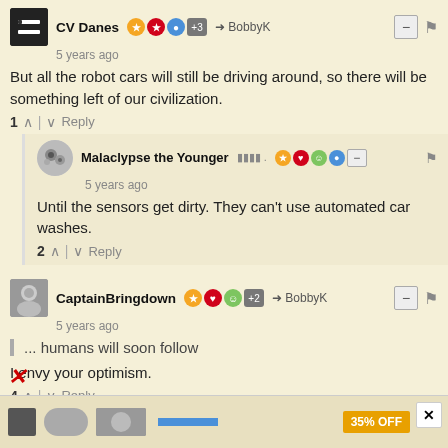CV Danes  5 years ago
But all the robot cars will still be driving around, so there will be something left of our civilization.
1 ^ | v Reply
Malaclypse the Younger  5 years ago
Until the sensors get dirty. They can't use automated car washes.
2 ^ | v Reply
CaptainBringdown  5 years ago
... humans will soon follow
I envy your optimism.
4 ^ | v Reply